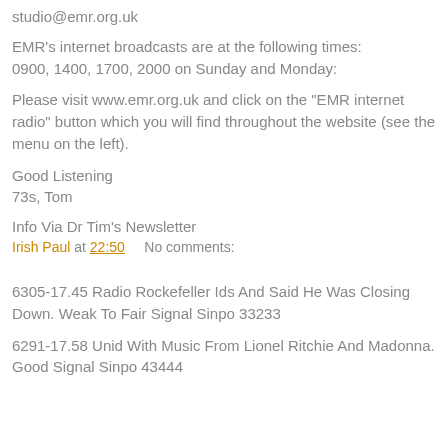studio@emr.org.uk
EMR’s internet broadcasts are at the following times: 0900, 1400, 1700, 2000 on Sunday and Monday:
Please visit www.emr.org.uk and click on the “EMR internet radio” button which you will find throughout the website (see the menu on the left).
Good Listening
73s, Tom
Info Via Dr Tim’s Newsletter
Irish Paul at 22:50    No comments:
6305-17.45 Radio Rockefeller Ids And Said He Was Closing Down. Weak To Fair Signal Sinpo 33233
6291-17.58 Unid With Music From Lionel Ritchie And Madonna. Good Signal Sinpo 43444